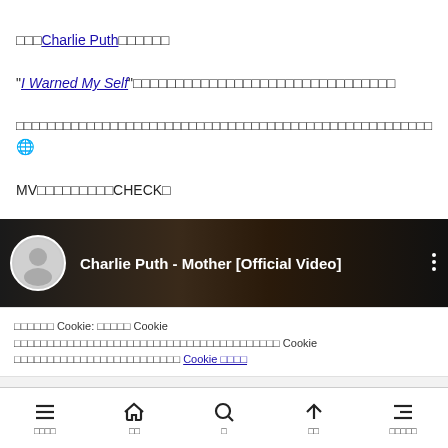□□□Charlie Puth□□□□□□
"I Warned My Self"□□□□□□□□□□□□□□□□□□□□□□□□□□□□□□□
□□□□□□□□□□□□□□□□□□□□□□□□□□□□□□□□□□□□□□□□□□□□□□□□□□□□□ 🌐
MV□□□□□□□□□CHECK□
[Figure (screenshot): YouTube video embed showing Charlie Puth - Mother [Official Video] with avatar, title, and three-dot menu]
□□□□□□ Cookie: □□□□□ Cookie □□□□□□□□□□□□□□□□□□□□□□□□□□□□□□□□□□□□□□□□ Cookie □□□□□□□□□□□□□□□□□□□□□□□□□□□ Cookie □□□□
□□□□□
□□□□  □□  □  □□  □□□□□